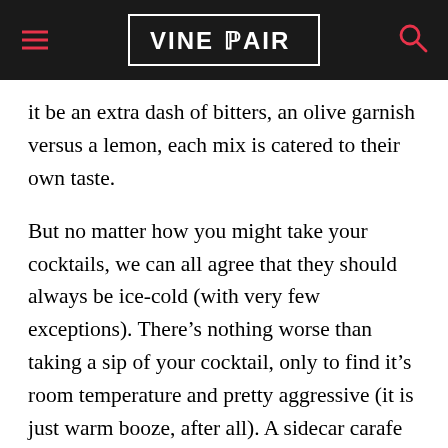VINEPAIR
it be an extra dash of bitters, an olive garnish versus a lemon, each mix is catered to their own taste.
But no matter how you might take your cocktails, we can all agree that they should always be ice-cold (with very few exceptions). There’s nothing worse than taking a sip of your cocktail, only to find it’s room temperature and pretty aggressive (it is just warm booze, after all). A sidecar carafe perched in a bowl of ice could save you from this, but we prefer a more efficient method of keeping